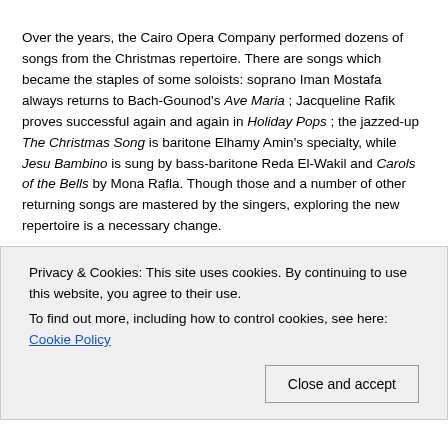Over the years, the Cairo Opera Company performed dozens of songs from the Christmas repertoire. There are songs which became the staples of some soloists: soprano Iman Mostafa always returns to Bach-Gounod's Ave Maria ; Jacqueline Rafik proves successful again and again in Holiday Pops ; the jazzed-up The Christmas Song is baritone Elhamy Amin's specialty, while Jesu Bambino is sung by bass-baritone Reda El-Wakil and Carols of the Bells by Mona Rafla. Though those and a number of other returning songs are mastered by the singers, exploring the new repertoire is a necessary change.
Soloists are mostly accompanied by the Cairo Celebration Choir, while some songs and carols are for the choir only: The First Noel, for example. The choir closed the evening with a popular 16th-century English carol, We wish you a Merry Christmas.
(partial, obscured by cookie banner)
Privacy & Cookies: This site uses cookies. By continuing to use this website, you agree to their use. To find out more, including how to control cookies, see here: Cookie Policy